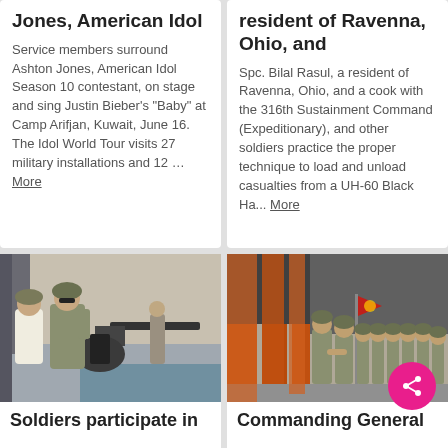Jones, American Idol
Service members surround Ashton Jones, American Idol Season 10 contestant, on stage and sing Justin Bieber's "Baby" at Camp Arifjan, Kuwait, June 16. The Idol World Tour visits 27 military installations and 12 … More
resident of Ravenna, Ohio, and
Spc. Bilal Rasul, a resident of Ravenna, Ohio, and a cook with the 316th Sustainment Command (Expeditionary), and other soldiers practice the proper technique to load and unload casualties from a UH-60 Black Ha... More
[Figure (photo): Soldiers operating a heavy machine gun mounted on a military vessel in a port]
Soldiers participate in
[Figure (photo): Commanding General shaking hands with soldiers in military formation under orange structures]
Commanding General